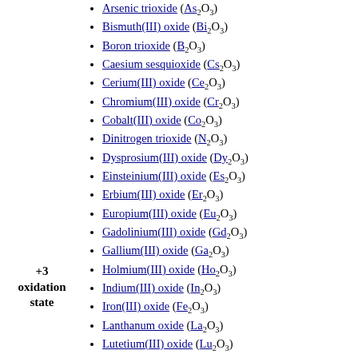Arsenic trioxide (As2O3)
Bismuth(III) oxide (Bi2O3)
Boron trioxide (B2O3)
Caesium sesquioxide (Cs2O3)
Cerium(III) oxide (Ce2O3)
Chromium(III) oxide (Cr2O3)
Cobalt(III) oxide (Co2O3)
Dinitrogen trioxide (N2O3)
Dysprosium(III) oxide (Dy2O3)
Einsteinium(III) oxide (Es2O3)
Erbium(III) oxide (Er2O3)
Europium(III) oxide (Eu2O3)
Gadolinium(III) oxide (Gd2O3)
Gallium(III) oxide (Ga2O3)
Holmium(III) oxide (Ho2O3)
Indium(III) oxide (In2O3)
Iron(III) oxide (Fe2O3)
Lanthanum oxide (La2O3)
Lutetium(III) oxide (Lu2O3)
Manganese(III) oxide (Mn2O3)
Neodymium(III) oxide (Nd2O3)
+3 oxidation state